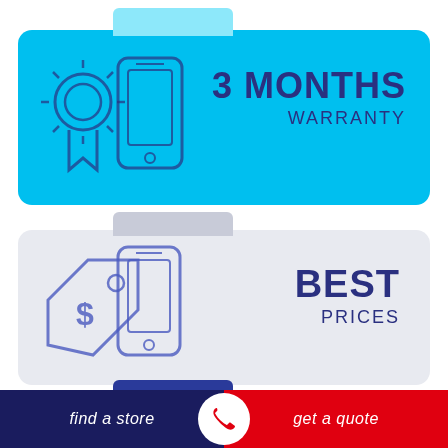[Figure (infographic): Cyan card with phone and warranty badge icon, text reads 3 MONTHS WARRANTY]
3 MONTHS
WARRANTY
[Figure (infographic): Light gray card with phone and price tag icon, text reads BEST PRICES]
BEST
PRICES
[Figure (infographic): Dark blue card partially visible with phone icon, text reads No Fix]
No Fix
find a store   [phone icon]   get a quote